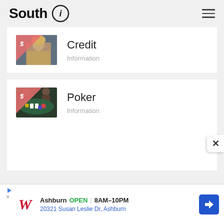South (i)
Credit
Information
[Figure (photo): Thumbnail image of a woman for Credit category]
Poker
Information
[Figure (photo): Thumbnail image of a poker table with players for Poker category]
Ashburn OPEN 8AM-10PM 20321 Susan Leslie Dr, Ashburn